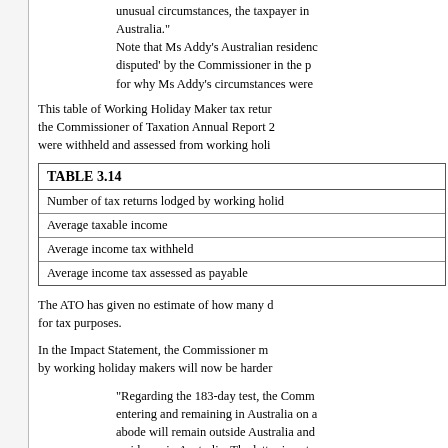unusual circumstances, the taxpayer in... Australia." Note that Ms Addy's Australian residence... disputed' by the Commissioner in the p... for why Ms Addy's circumstances were...
This table of Working Holiday Maker tax retur... the Commissioner of Taxation Annual Report 2... were withheld and assessed from working holi...
| TABLE 3.14 |
| --- |
| Number of tax returns lodged by working holid... |
| Average taxable income |
| Average income tax withheld |
| Average income tax assessed as payable |
The ATO has given no estimate of how many d... for tax purposes.
In the Impact Statement, the Commissioner m... by working holiday makers will now be harder...
“Regarding the 183-day test, the Comm... entering and remaining in Australia on a... abode will remain outside Australia and... residence in Australia. The latter is not s... in Australia for a length of time much le... undetermined period. Credible evidenc...